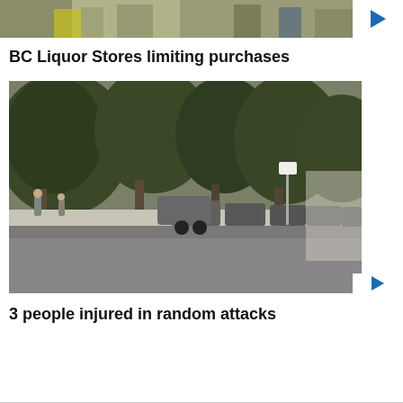[Figure (screenshot): Thumbnail image showing people's legs at what appears to be an outdoor event, cropped at top of page]
BC Liquor Stores limiting purchases
[Figure (screenshot): Photo of a tree-lined residential street with parked cars in Vancouver]
3 people injured in random attacks